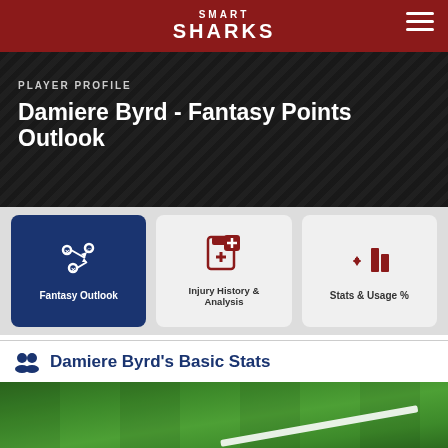SMART SHARKS
PLAYER PROFILE
Damiere Byrd - Fantasy Points Outlook
Fantasy Outlook
Injury History & Analysis
Stats & Usage %
Damiere Byrd's Basic Stats
[Figure (photo): Football field grass with white yard line marking visible]